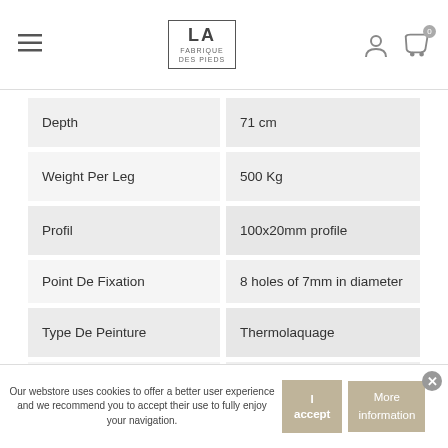LA FABRIQUE DES PIEDS — navigation header with logo and cart
| Property | Value |
| --- | --- |
| Depth | 71 cm |
| Weight Per Leg | 500 Kg |
| Profil | 100x20mm profile |
| Point De Fixation | 8 holes of 7mm in diameter |
| Type De Peinture | Thermolaquage |
| Style | Industriel |
| Forme De Plateau | Rectangle, Ovale |
Our webstore uses cookies to offer a better user experience and we recommend you to accept their use to fully enjoy your navigation.